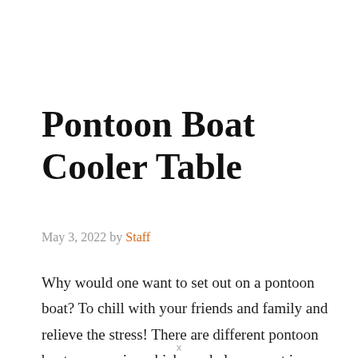Pontoon Boat Cooler Table
May 3, 2022 by Staff
Why would one want to set out on a pontoon boat? To chill with your friends and family and relieve the stress! There are different pontoon boat accessories which can help you out in making your adventure a